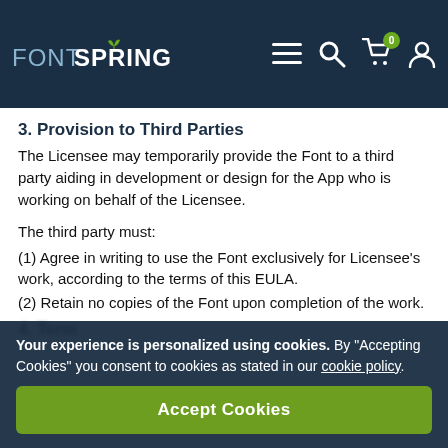FONTSPRING
3. Provision to Third Parties
The Licensee may temporarily provide the Font to a third party aiding in development or design for the App who is working on behalf of the Licensee.
The third party must:
(1) Agree in writing to use the Font exclusively for Licensee’s work, according to the terms of this EULA.
(2) Retain no copies of the Font upon completion of the work.
4. Term
Your experience is personalized using cookies. By “Accepting Cookies” you consent to cookies as stated in our cookie policy.
Accept Cookies